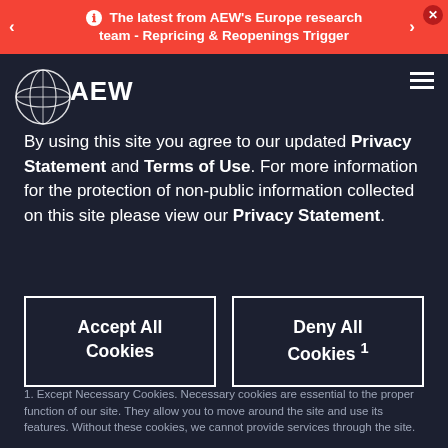The latest from AEW's Europe research team - Repricing & Reopenings Trigger
[Figure (logo): AEW globe and wordmark logo in white]
By using this site you agree to our updated Privacy Statement and Terms of Use. For more information for the protection of non-public information collected on this site please view our Privacy Statement.
Accept All Cookies
Deny All Cookies 1
1. Except Necessary Cookies. Necessary cookies are essential to the proper function of our site. They allow you to move around the site and use its features. Without these cookies, we cannot provide services through the site.